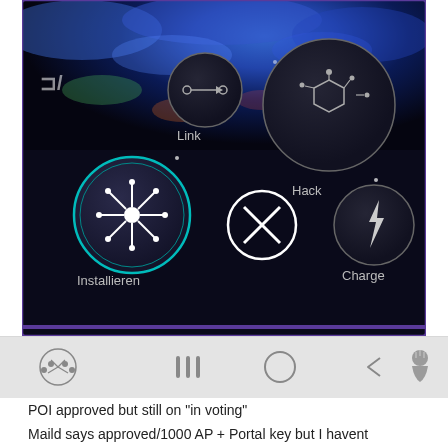[Figure (screenshot): Screenshot of a game app (Ingress) showing a portal action menu with circular buttons: Installieren (Install), Link, Hack, Charge, and a cancel X button. Background shows a stylized globe with blue hues. Android navigation bar visible at bottom.]
POI approved but still on "in voting"
Maild says approved/1000 AP + Portal key but I havent recieved the key...